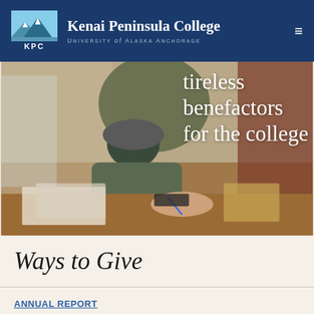Kenai Peninsula College — University of Alaska Anchorage
[Figure (photo): Elderly person writing at a desk with papers, overlaid with white text reading 'tireless benefactors for the college']
Ways to Give
ANNUAL REPORT
BY THE NUMBERS